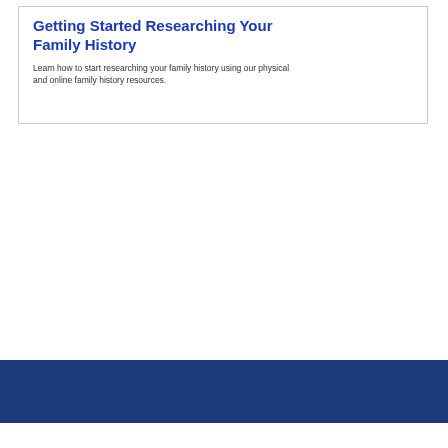Getting Started Researching Your Family History
Learn how to start researching your family history using our physical and online family history resources.
[Figure (other): Dark navy blue horizontal bar spanning full page width]
[Figure (photo): Advertisement banner: 'Bring history home. Our online store is open. SHOP NOW' with images of maps, vintage books, a framed picture on a side table, and two children on a hammock in a forest]